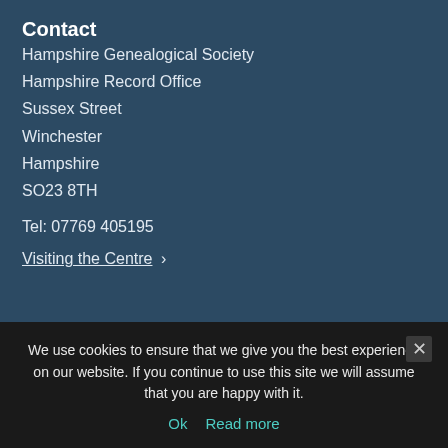Contact
Hampshire Genealogical Society
Hampshire Record Office
Sussex Street
Winchester
Hampshire
SO23 8TH
Tel: 07769 405195
Visiting the Centre >
Quick Links
Join HGS
Genealogy Articles
We use cookies to ensure that we give you the best experience on our website. If you continue to use this site we will assume that you are happy with it.
Ok   Read more